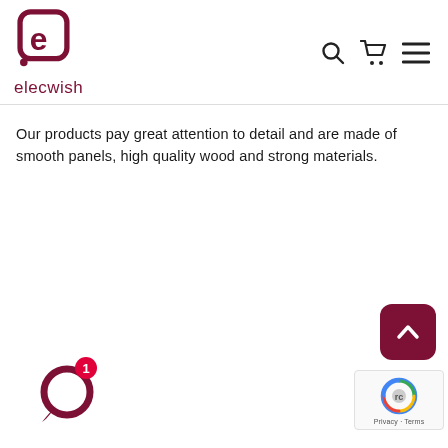elecwish
Our products pay great attention to detail and are made of smooth panels, high quality wood and strong materials.
[Figure (other): Scroll-to-top button with dark red background and upward chevron arrow]
[Figure (other): Chat bubble icon with notification badge showing number 1]
[Figure (other): Google reCAPTCHA badge with Privacy and Terms links]